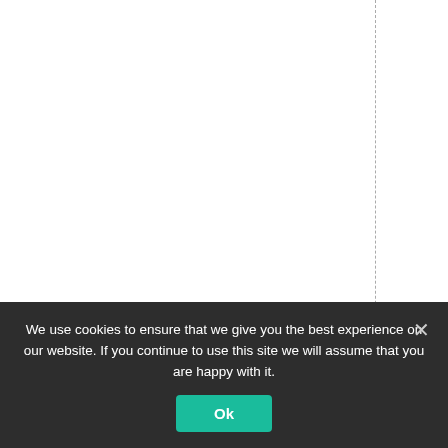mazonand southeast A
We use cookies to ensure that we give you the best experience on our website. If you continue to use this site we will assume that you are happy with it. Ok ×